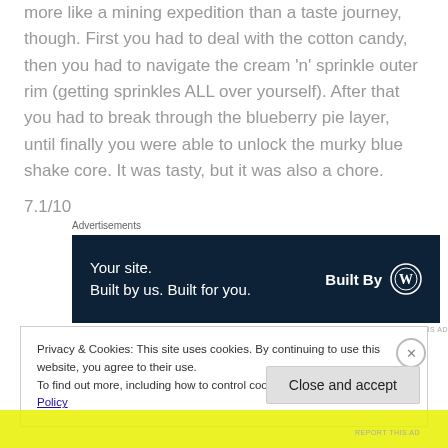more like a mining expedition than a taste journey, though. First you had to deal with the cotton candy, then you had to navigate the cream 'n' sprinkle outer rim (getting sprinkles ALL over yourself). After that you had to break through the blueberry pie layer, until finally you were able to unlock the murky blue shake core. It was tasty, but it was also a chore. 7.1/10
[Figure (other): WordPress advertisement banner: dark navy background with white text 'Your site. Built by us. Built for you.' and 'Built By' with WordPress logo on the right. Labeled 'Advertisements' above and 'REPORT THIS AD' below.]
Privacy & Cookies: This site uses cookies. By continuing to use this website, you agree to their use.
To find out more, including how to control cookies, see here: Cookie Policy